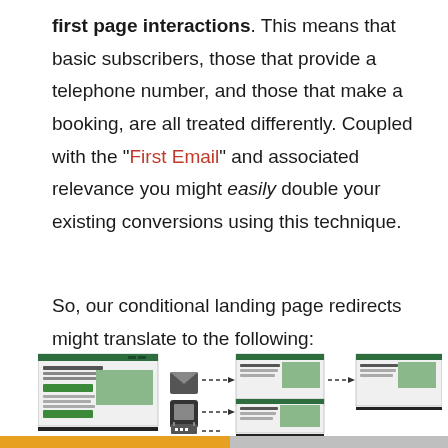first page interactions. This means that basic subscribers, those that provide a telephone number, and those that make a booking, are all treated differently. Coupled with the "First Email" and associated relevance you might easily double your existing conversions using this technique.
So, our conditional landing page redirects might translate to the following:
[Figure (illustration): Diagram showing a landing page redirecting to different pages based on subscriber type: email subscribers go to one page, phone subscribers to another, and booking subscribers to a third page, shown with dashed arrows.]